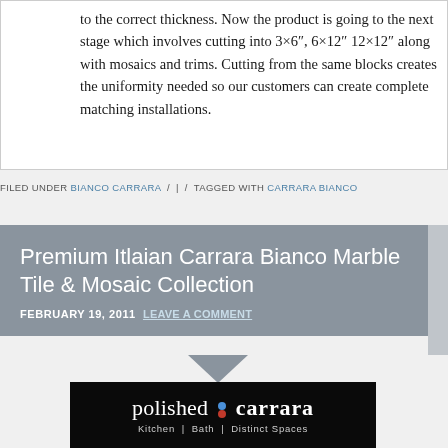to the correct thickness. Now the product is going to the next stage which involves cutting into 3×6″, 6×12″ 12×12″ along with mosaics and trims. Cutting from the same blocks creates the uniformity needed so our customers can create complete matching installations.
FILED UNDER BIANCO CARRARA / | / TAGGED WITH CARRARA BIANCO
Premium Itlaian Carrara Bianco Marble Tile & Mosaic Collection
FEBRUARY 19, 2011  LEAVE A COMMENT
[Figure (logo): Polished Carrara logo — black background with white text 'polished : carrara' and subtitle 'Kitchen | Bath | Distinct Spaces']